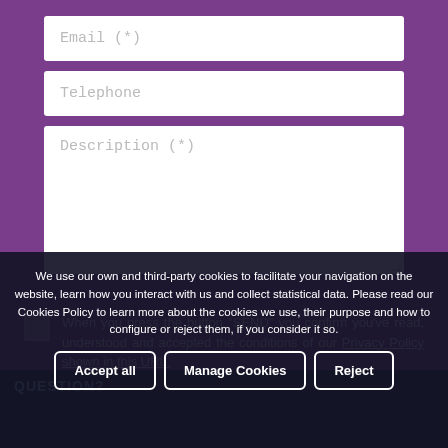[Figure (screenshot): Web contact form with Email, Telephone, and Description input fields on a purple background]
Email (*)
Telephone
Description (*)
When you press the button "SEND" you confirm you've read, understood and accepted the conditions of our Privacy Policy shown in this URL.
We use our own and third-party cookies to facilitate your navigation on the website, learn how you interact with us and collect statistical data. Please read our Cookies Policy to learn more about the cookies we use, their purpose and how to configure or reject them, if you consider it so.
Accept all
Manage Cookies
Reject
QUESTION?